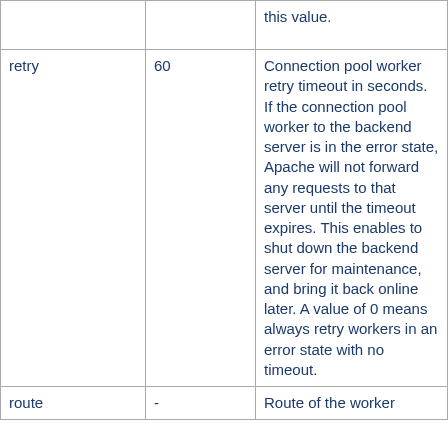|  |  | this value. |
| retry | 60 | Connection pool worker retry timeout in seconds. If the connection pool worker to the backend server is in the error state, Apache will not forward any requests to that server until the timeout expires. This enables to shut down the backend server for maintenance, and bring it back online later. A value of 0 means always retry workers in an error state with no timeout. |
| route | - | Route of the worker |